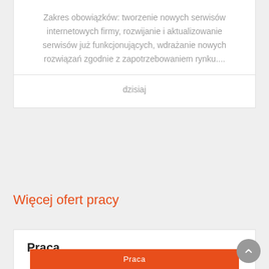Zakres obowiązków: tworzenie nowych serwisów internetowych firmy, rozwijanie i aktualizowanie serwisów już funkcjonujących, wdrażanie nowych rozwiązań zgodnie z zapotrzebowaniem rynku....
dzisiaj
Więcej ofert pracy
Praca
Praca